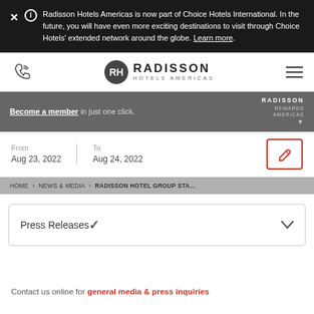Radisson Hotels Americas is now part of Choice Hotels International. In the future, you will have even more exciting destinations to visit through Choice Hotels' extended network around the globe. Learn more.
[Figure (logo): Radisson Hotels Americas logo with RH symbol]
Become a member in just one click. RADISSON REWARDS AMERICAS
From Aug 23, 2022 | To Aug 24, 2022
HOME › NEWS & MEDIA › RADISSON HOTEL GROUP STA...
Press Releases
Contact us online for general media & press inquiries